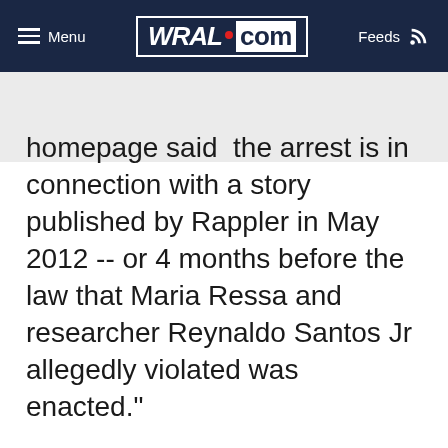WRAL.com — Menu | Feeds
homepage said  the arrest is in connection with a story published by Rappler in May 2012 -- or 4 months before the law that Maria Ressa and researcher Reynaldo Santos Jr allegedly violated was enacted."
Why does Rappler believe it has been targeted?
Ressa describes it as political harassment.